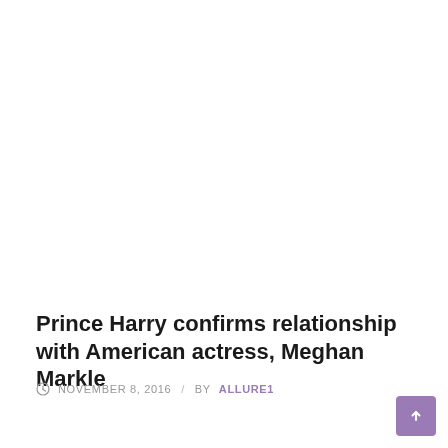Prince Harry confirms relationship with American actress, Meghan Markle
NOVEMBER 8, 2016 / BY ALLURE1